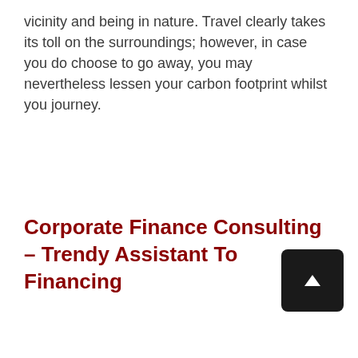vicinity and being in nature. Travel clearly takes its toll on the surroundings; however, in case you do choose to go away, you may nevertheless lessen your carbon footprint whilst you journey.
Corporate Finance Consulting – Trendy Assistant To Financing